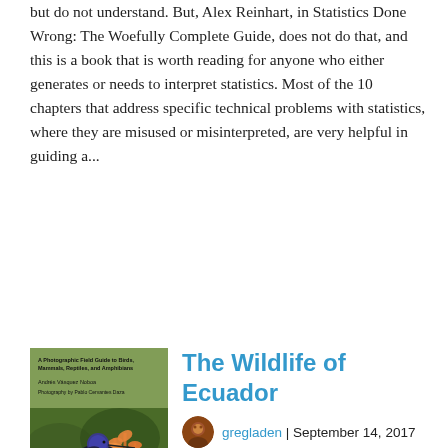but do not understand. But, Alex Reinhart, in Statistics Done Wrong: The Woefully Complete Guide, does not do that, and this is a book that is worth reading for anyone who either generates or needs to interpret statistics. Most of the 10 chapters that address specific technical problems with statistics, where they are misused or misinterpreted, are very helpful in guiding a...
[Figure (photo): Book cover of The Wildlife of Ecuador showing a hummingbird perched on orange flowers against a green background, with text 'A Photographic Field Guide to Birds, Mammals, Reptiles, and Amphibians' and 'Andrés Vásquez Noboa, Photography by Pablo Cervantes Daza']
The Wildlife of Ecuador
gregladen | September 14, 2017
Wildlife of Ecuador: A Photographic Field Guide to Birds, Mammals, Reptiles, and Amphibians by naturalist Andrés Vásquez Noboa, witih photography byablo Cervantes Daza, covers mainland Ecuador (but by "mainland" we also mean ocean mammals). Focusing only on non-piscine verts, you will need to go elsewhere for your inverts and plants and such. But you get the point. This book covers most of what you are looking for when you are out